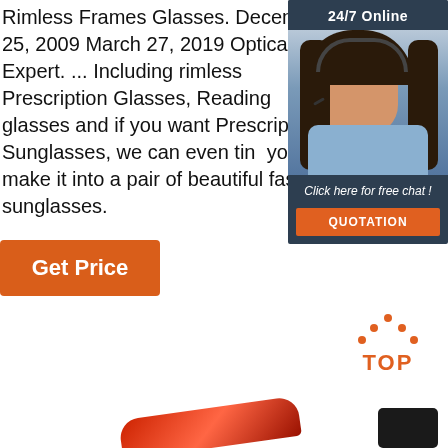Rimless Frames Glasses. December 25, 2009 March 27, 2019 Optical Expert. ... Including rimless Prescription Glasses, Reading glasses and if you want Prescription Sunglasses, we can even tint you to make it into a pair of beautiful fashion sunglasses.
[Figure (other): Customer support widget: dark navy background with '24/7 Online' text at top, a smiling woman wearing a headset, text 'Click here for free chat!' and an orange button labeled 'QUOTATION']
[Figure (other): Orange 'TOP' button with dotted arrow pointing upward, used as a back-to-top navigation element]
[Figure (other): Partial image of glasses frames at the bottom of the page]